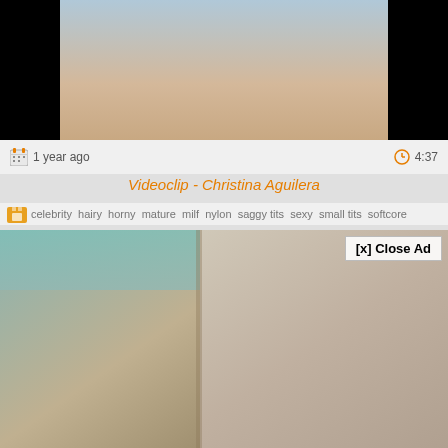[Figure (screenshot): Top video thumbnail showing partial body figure against light blue background, flanked by black bars on sides]
1 year ago
4:37
Videoclip - Christina Aguilera
celebrity  hairy  horny  mature  milf  nylon  saggy tits  sexy  small tits  softcore
[Figure (screenshot): Bottom video thumbnail showing person with blue head covering holding a banana, with [x] Close Ad button in top right]
[x] Close Ad